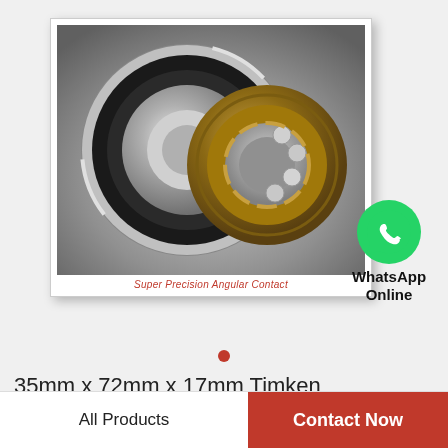[Figure (photo): Two super precision angular contact ball bearings — one silver/grey sealed bearing and one open bronze/gold bearing showing ball elements — on a grey gradient background. Caption reads 'Super Precision Angular Contact'.]
Super Precision Angular Contact
[Figure (logo): WhatsApp green circle icon with white phone handset, labeled 'WhatsApp Online']
WhatsApp Online
35mm x 72mm x 17mm Timken 3mm207wicrduh-timken Super Precision Angu…
All Products    Contact Now